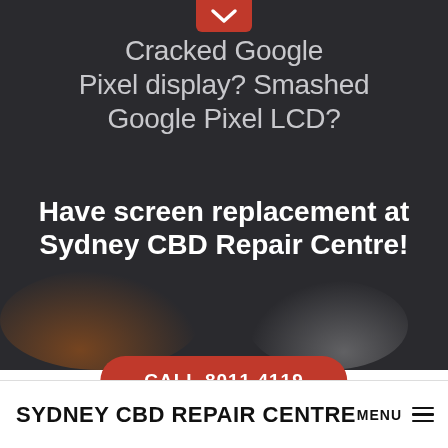[Figure (screenshot): Dark background mobile webpage hero section with red chevron/dropdown tab at top center]
Cracked Google Pixel display? Smashed Google Pixel LCD?
Have screen replacement at Sydney CBD Repair Centre!
CALL 8011 4119
SYDNEY CBD REPAIR CENTRE MENU ≡